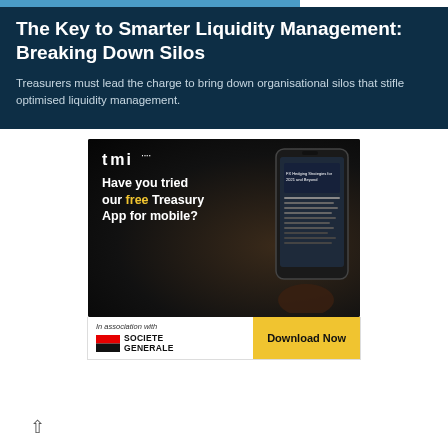The Key to Smarter Liquidity Management: Breaking Down Silos
Treasurers must lead the charge to bring down organisational silos that stifle optimised liquidity management.
[Figure (advertisement): TMI app advertisement on dark background showing a hand holding a smartphone with the TMI app. Text reads: 'Have you tried our free Treasury App for mobile?']
In association with
[Figure (logo): Societe Generale logo with red and black flag icon and SOCIETE GENERALE text]
Download Now